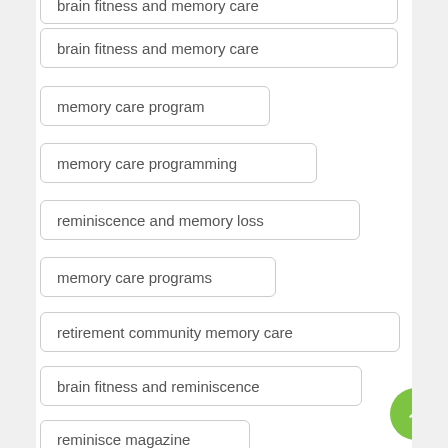brain fitness and memory care
memory care program
memory care programming
reminiscence and memory loss
memory care programs
retirement community memory care
brain fitness and reminiscence
reminisce magazine
retirement communities
biography book
personal history